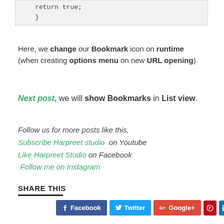return true;
    }
Here, we change our Bookmark icon on runtime (when creating options menu on new URL opening).
Next post, we will show Bookmarks in List view.
Follow us for more posts like this,
Subscribe Harpreet studio  on Youtube
Like Harpreet Studio on Facebook
 Follow me on Instagram
SHARE THIS
Facebook  Twitter  Google+  [Pinterest]  [LinkedIn]